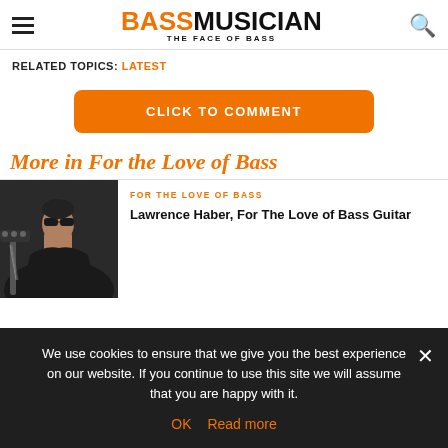BASS MUSICIAN THE FACE OF BASS
RELATED TOPICS: LATEST
CLICK TO COMMENT
More in For the Love of Bass
[Figure (photo): Man with sunglasses playing bass guitar, wearing black jacket]
FOR THE LOVE OF BASS
Lawrence Haber, For The Love of Bass Guitar
We use cookies to ensure that we give you the best experience on our website. If you continue to use this site we will assume that you are happy with it.
OK  Read more